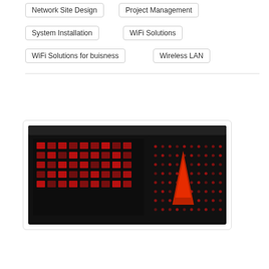Network Site Design
Project Management
System Installation
WiFi Solutions
WiFi Solutions for buisness
Wireless LAN
[Figure (photo): A black rack-mount server with red LED lights and a red triangle logo on the front panel]
Hyperco Computing why sho
On September 17th, 2
Lehman | 0 Comment
Carlson Communications
Hyperconverged Computing
Why should we use Hyperconverged Computing
WiFi Solutions
Hyperconvergence is gaining momentum w Hyperconverged dis pace of utility deploy comparatively latest their first merchandis